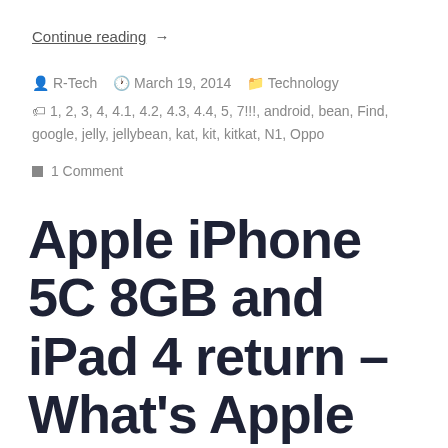Continue reading →
R-Tech   March 19, 2014   Technology
1, 2, 3, 4, 4.1, 4.2, 4.3, 4.4, 5, 7!!!, android, bean, Find, google, jelly, jellybean, kat, kit, kitkat, N1, Oppo
1 Comment
Apple iPhone 5C 8GB and iPad 4 return – What's Apple doing?